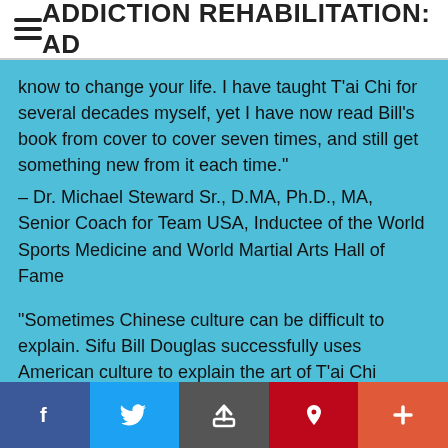ADDICTION REHABILITATION: AD
know to change your life. I have taught T'ai Chi for several decades myself, yet I have now read Bill's book from cover to cover seven times, and still get something new from it each time."
– Dr. Michael Steward Sr., D.MA, Ph.D., MA, Senior Coach for Team USA, Inductee of the World Sports Medicine and World Martial Arts Hall of Fame
"Sometimes Chinese culture can be difficult to explain. Sifu Bill Douglas successfully uses American culture to explain the art of T'ai Chi Chuan. He simplifies difficult concepts, making them easier to understand. This book
f  t  [share icon]  p  +